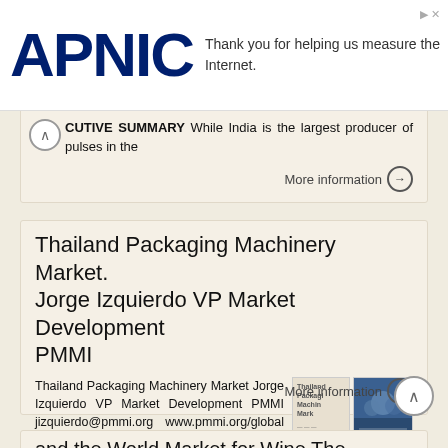[Figure (logo): APNIC logo in dark navy blue bold text]
Thank you for helping us measure the Internet.
ECUTIVE SUMMARY While India is the largest producer of pulses in the
More information →
Thailand Packaging Machinery Market. Jorge Izquierdo VP Market Development PMMI
Thailand Packaging Machinery Market Jorge Izquierdo VP Market Development PMMI jizquierdo@pmmi.org www.pmmi.org/global www.pmmi.org/research Today General Economic and Political Highlights Current Packaging
More information →
and the World Market for Wine The Central